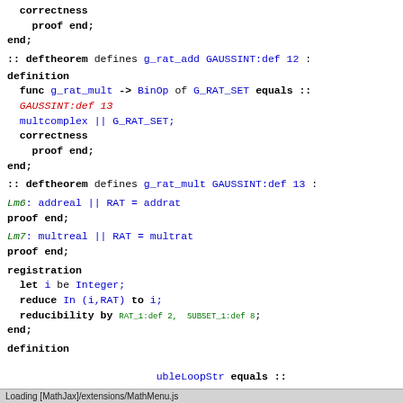correctness
  proof end;
end;
:: deftheorem defines g_rat_add GAUSSINT:def 12 :
definition
  func g_rat_mult -> BinOp of G_RAT_SET equals :: GAUSSINT:def 13
  multcomplex || G_RAT_SET;
  correctness
  proof end;
end;
:: deftheorem defines g_rat_mult GAUSSINT:def 13 :
Lm6: addreal || RAT = addrat
proof end;
Lm7: multreal || RAT = multrat
proof end;
registration
  let i be Integer;
  reduce In (i,RAT) to i;
  reducibility by RAT_1:def 2, SUBSET_1:def 8;
end;
definition
... ubleLo opStr equals ::
Loading [MathJax]/extensions/MathMenu.js